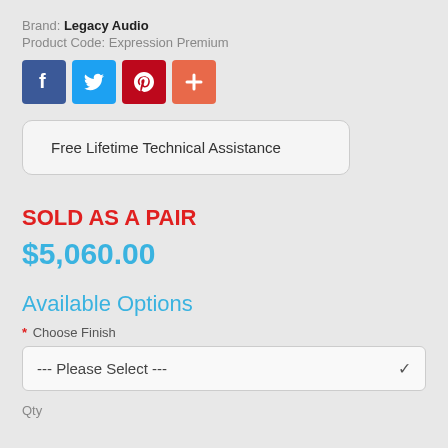Brand: Legacy Audio
Product Code: Expression Premium
[Figure (infographic): Row of four social share icons: Facebook (blue), Twitter (light blue), Pinterest (dark red), and a plus/share button (orange-red)]
Free Lifetime Technical Assistance
SOLD AS A PAIR
$5,060.00
Available Options
* Choose Finish
--- Please Select ---
Qty